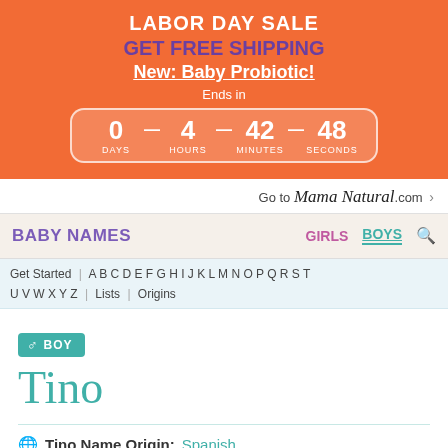[Figure (infographic): Orange promotional banner with Labor Day Sale text, Get Free Shipping in purple, New: Baby Probiotic! underlined in white, countdown timer showing 0 days, 4 hours, 42 minutes, 48 seconds]
Go to Mama Natural .com >
BABY NAMES   GIRLS   BOYS
Get Started | A B C D E F G H I J K L M N O P Q R S T U V W X Y Z | Lists | Origins
BOY
Tino
Tino Name Origin: Spanish